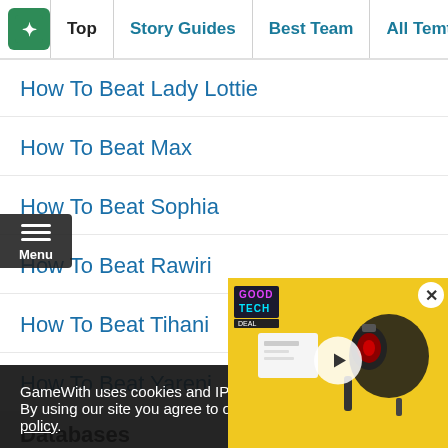Top | Story Guides | Best Team | All Temtem List | Tier
How To Beat Lady Lottie
How To Beat Max
How To Beat Sophia
How To Beat Rawiri
How To Beat Tihani
How To Beat Yareni
Databases
List Of All Traits
GameWith uses cookies and IP a... By using our site you agree to ou... policy.
[Figure (screenshot): Video player overlay showing GoodTech Deal headphone product review thumbnail on yellow background with play button and close (X) button]